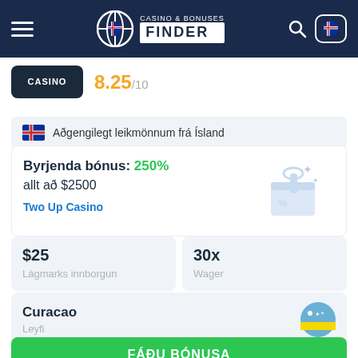[Figure (screenshot): Casino & Bonuses Finder website header with hamburger menu, logo, search icon and Iceland flag button on dark navy background]
CASINO 8.25/10
🇮🇸 Aðgengilegt leikmönnum frá Ísland
Byrjenda bónus: 250% allt að $2500
Two Up Casino
$25
Lágmarks innborgun
30x
Wager
Curacao
Leyfi
FÁÐU BÓNUSA
FARA YFIR